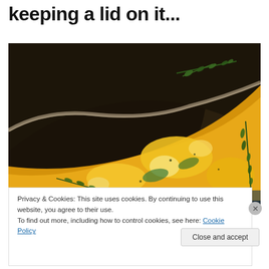keeping a lid on it...
[Figure (photo): Close-up photo of a cooking pan with a lid partially covering yellow egg/frittata dish garnished with fresh thyme sprigs, shot in dark moody style]
Privacy & Cookies: This site uses cookies. By continuing to use this website, you agree to their use.
To find out more, including how to control cookies, see here: Cookie Policy
Close and accept